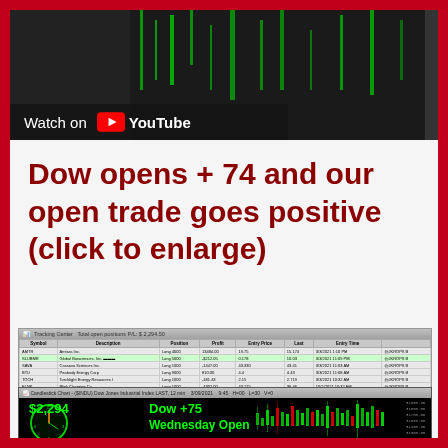[Figure (screenshot): YouTube video thumbnail showing green stock ticker display with 'Watch on YouTube' button overlay]
Dow opens + 74 and our open trade goes positive (click to enlarge)
[Figure (screenshot): Trading Center software screenshot showing open positions table with symbols AMTR, SLUBMR, SAVA, BTU, TOCH, ELNK, GLG, BNGO, AVM, AMRSNR and a candlestick chart overlay showing $2,294, Dow +75, Wednesday Open]